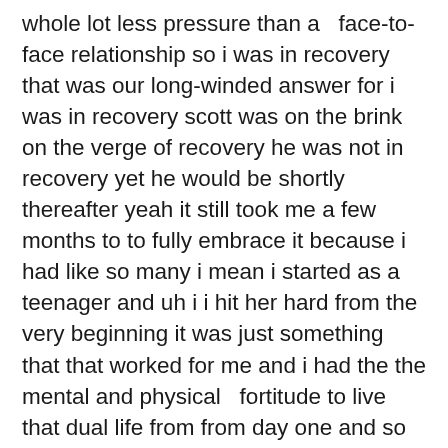whole lot less pressure than a  face-to-face relationship so i was in recovery that was our long-winded answer for i was in recovery scott was on the brink on the verge of recovery he was not in recovery yet he would be shortly thereafter yeah it still took me a few months to to fully embrace it because i had like so many i mean i started as a teenager and uh i i hit her hard from the very beginning it was just something that that worked for me and i had the the mental and physical   fortitude to live that dual life from from day one and so um you know i  maintained good grades in school relationships was nice and respectful to  adults and so on and so forth uh so you know it it like i say it